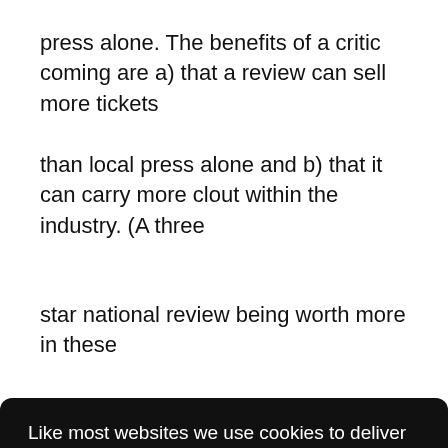press alone. The benefits of a critic coming are a) that a review can sell more tickets
than local press alone and b) that it can carry more clout within the industry. (A three
star national review being worth more in these
Like most websites we use cookies to deliver a personalised service. To use the website as intended please accept cookies. By using this website, you are accepting the terms of our Privacy Policy and Data Promise, which you can find here.
arily
e
Accept Cookies